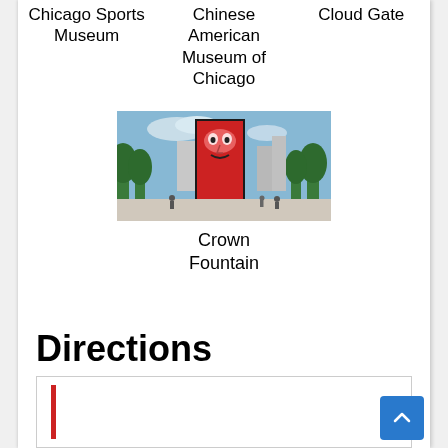Chicago Sports Museum
Chinese American Museum of Chicago
Cloud Gate
[Figure (photo): Photo of Crown Fountain in Chicago, showing a large LED tower with a face projected on it, surrounded by trees and a plaza]
Crown Fountain
Directions